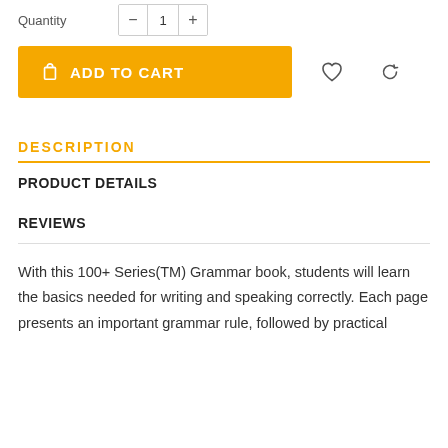Quantity — 1 +
ADD TO CART
DESCRIPTION
PRODUCT DETAILS
REVIEWS
With this 100+ Series(TM) Grammar book, students will learn the basics needed for writing and speaking correctly. Each page presents an important grammar rule, followed by practical